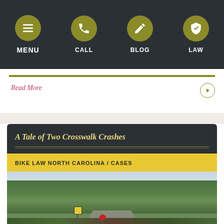MENU | CALL | BLOG | LAW
Read More
A Tale of Two Crosswalk Crashes
BIKE LAW NORTH CAROLINA / CASES
[Figure (photo): Outdoor road intersection with trees, a yellow pedestrian crossing sign, and a red stop sign surrounded by green shrubs and overcast sky.]